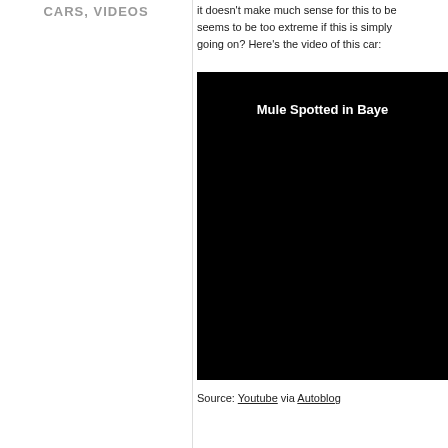CARS, VIDEOS
it doesn't make much sense for this to be... seems to be too extreme if this is simply... going on? Here's the video of this car:
[Figure (screenshot): Black video player thumbnail with white text reading 'Mule Spotted in Baye...']
Source: Youtube via Autoblog